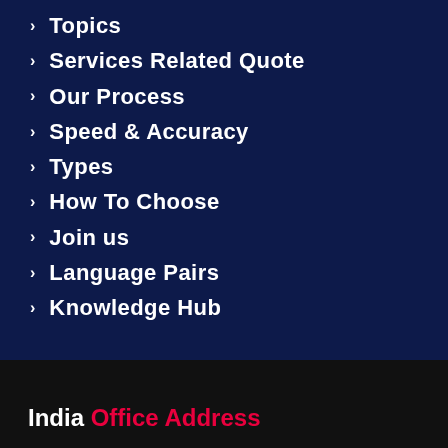> Topics
> Services Related Quote
> Our Process
> Speed & Accuracy
> Types
> How To Choose
> Join us
> Language Pairs
> Knowledge Hub
India Office Address